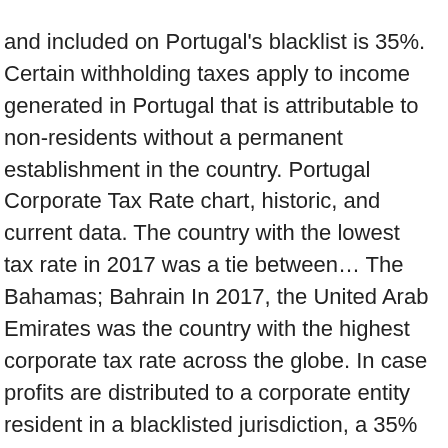and included on Portugal's blacklist is 35%. Certain withholding taxes apply to income generated in Portugal that is attributable to non-residents without a permanent establishment in the country. Portugal Corporate Tax Rate chart, historic, and current data. The country with the lowest tax rate in 2017 was a tie between… The Bahamas; Bahrain In 2017, the United Arab Emirates was the country with the highest corporate tax rate across the globe. In case profits are distributed to a corporate entity resident in a blacklisted jurisdiction, a 35% flat withholding tax rate will apply. The latest comprehensive information for - Portugal Corporate Tax Rate - including latest news, historical data table, charts and more. List of Countries by Corporate Tax Rate - provides a table with the latest tax rate figures for several countries including actual values, forecasts,